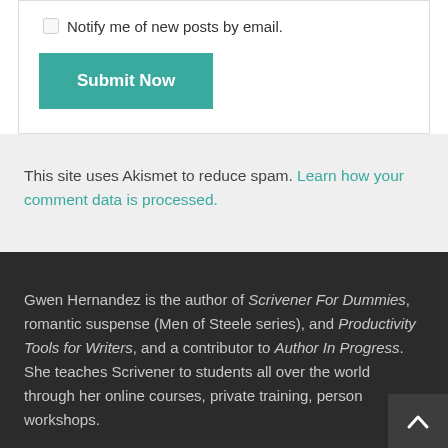Notify me of new posts by email.
Submit Now
This site uses Akismet to reduce spam. Learn how your comment data is processed.
Gwen Hernandez is the author of Scrivener For Dummies, romantic suspense (Men of Steele series), and Productivity Tools for Writers, and a contributor to Author In Progress. She teaches Scrivener to students all over the world through her online courses, private training, person workshops.